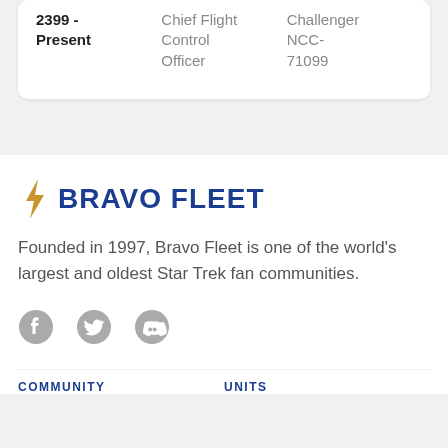| Date | Role | Assignment |
| --- | --- | --- |
| 2399 - Present | Chief Flight Control Officer | Challenger NCC-71099 |
[Figure (logo): Bravo Fleet logo: gold lightning bolt icon followed by bold dark blue uppercase text BRAVO FLEET]
Founded in 1997, Bravo Fleet is one of the world's largest and oldest Star Trek fan communities.
[Figure (other): Social media icons: Facebook, Twitter, Discord — all in gray]
COMMUNITY
UNITS